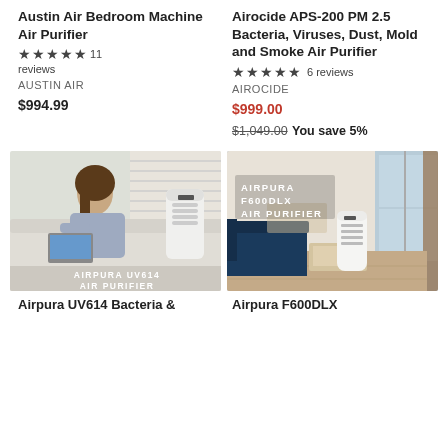Austin Air Bedroom Machine Air Purifier
★★★★★ 11 reviews
AUSTIN AIR
$994.99
Airocide APS-200 PM 2.5 Bacteria, Viruses, Dust, Mold and Smoke Air Purifier
★★★★★ 6 reviews
AIROCIDE
$999.00
$1,049.00 You save 5%
[Figure (photo): Woman sitting on white couch next to an Airpura UV614 air purifier, labeled AIRPURA UV614 AIR PURIFIER]
[Figure (photo): Modern living room interior with Airpura F600DLX air purifier, labeled AIRPURA F600DLX AIR PURIFIER]
Airpura UV614 Bacteria &
Airpura F600DLX